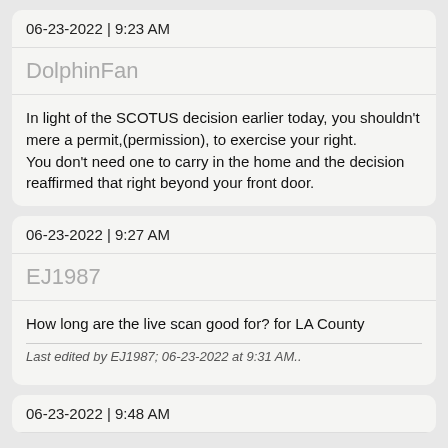06-23-2022 | 9:23 AM
DolphinFan
In light of the SCOTUS decision earlier today, you shouldn't mere a permit,(permission), to exercise your right.
You don't need one to carry in the home and the decision reaffirmed that right beyond your front door.
06-23-2022 | 9:27 AM
EJ1987
How long are the live scan good for? for LA County
Last edited by EJ1987; 06-23-2022 at 9:31 AM..
06-23-2022 | 9:48 AM